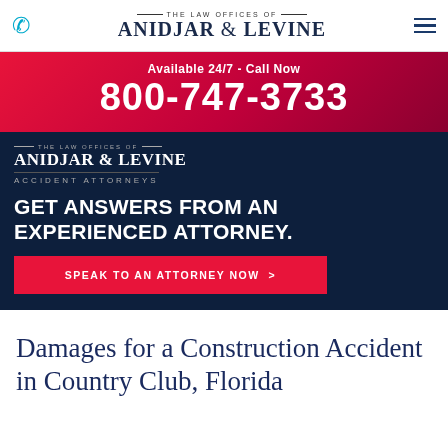The Law Offices of Anidjar & Levine
Available 24/7 - Call Now 800-747-3733
[Figure (logo): Anidjar & Levine Accident Attorneys logo on dark navy background]
GET ANSWERS FROM AN EXPERIENCED ATTORNEY.
SPEAK TO AN ATTORNEY NOW >
Damages for a Construction Accident in Country Club, Florida